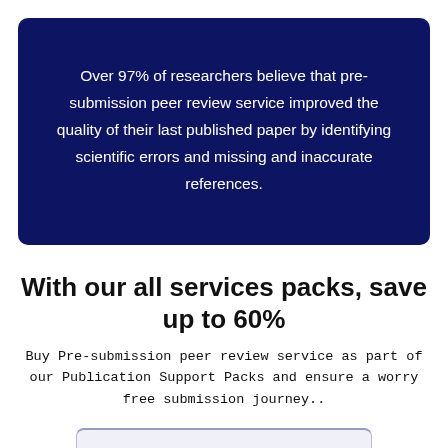Over 97% of researchers believe that pre-submission peer review service improved the quality of their last published paper by identifying scientific errors and missing and inaccurate references.
With our all services packs, save up to 60%
Buy Pre-submission peer review service as part of our Publication Support Packs and ensure a worry free submission journey..
[Figure (other): Bottom of a card/panel element, partially visible at the bottom of the page]